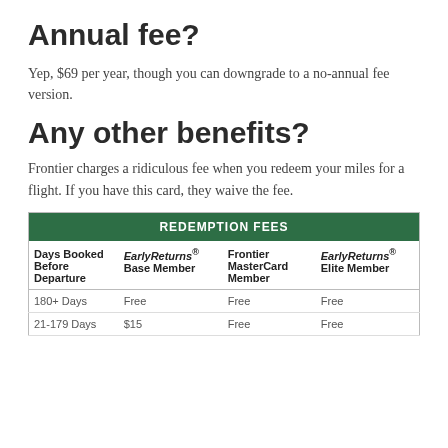Annual fee?
Yep, $69 per year, though you can downgrade to a no-annual fee version.
Any other benefits?
Frontier charges a ridiculous fee when you redeem your miles for a flight. If you have this card, they waive the fee.
| Days Booked Before Departure | EarlyReturns® Base Member | Frontier MasterCard Member | EarlyReturns® Elite Member |
| --- | --- | --- | --- |
| 180+ Days | Free | Free | Free |
| 21-179 Days | $15 | Free | Free |